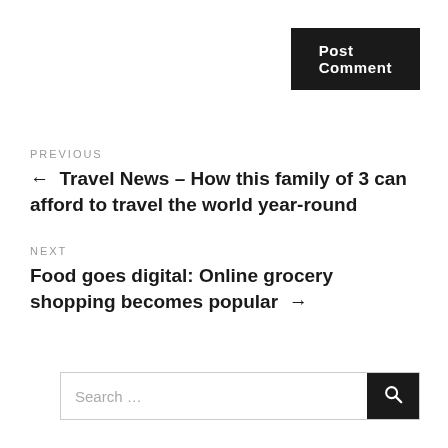Post Comment
PREVIOUS
← Travel News – How this family of 3 can afford to travel the world year-round
NEXT
Food goes digital: Online grocery shopping becomes popular →
Search …